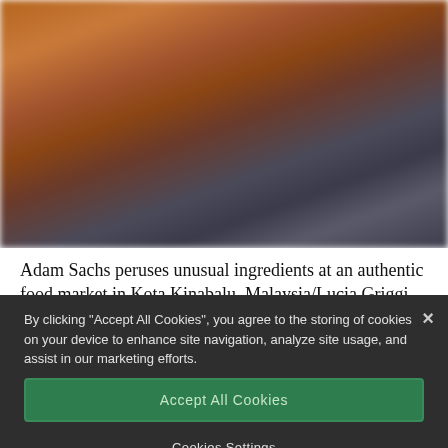[Figure (photo): Blurred photo of a food market scene with warm brown and dark tones, showing market ingredients]
Adam Sachs peruses unusual ingredients at an authentic food market in Kota Kinabalu, Malaysia/Lucia Griggi
By clicking “Accept All Cookies”, you agree to the storing of cookies on your device to enhance site navigation, analyze site usage, and assist in our marketing efforts.
Accept All Cookies
Cookies Settings